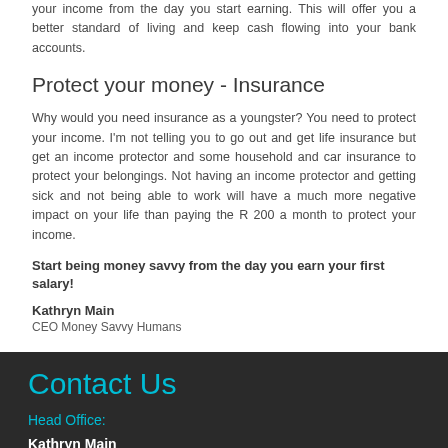your income from the day you start earning. This will offer you a better standard of living and keep cash flowing into your bank accounts.
Protect your money - Insurance
Why would you need insurance as a youngster? You need to protect your income. I'm not telling you to go out and get life insurance but get an income protector and some household and car insurance to protect your belongings. Not having an income protector and getting sick and not being able to work will have a much more negative impact on your life than paying the R 200 a month to protect your income.
Start being money savvy from the day you earn your first salary!
Kathryn Main
CEO Money Savvy Humans
Contact Us
Head Office:
Kathryn Main
Our Founder